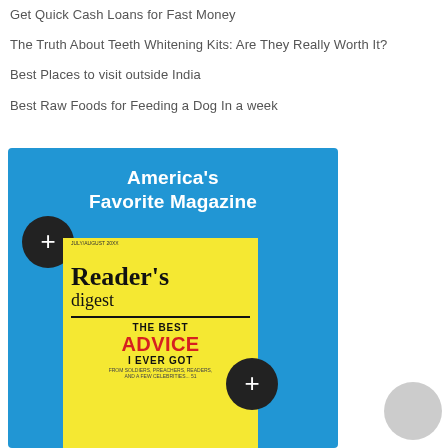Get Quick Cash Loans for Fast Money
The Truth About Teeth Whitening Kits: Are They Really Worth It?
Best Places to visit outside India
Best Raw Foods for Feeding a Dog In a week
[Figure (illustration): Advertisement for Reader's Digest magazine on a blue background. Text reads 'America's Favorite Magazine' in white bold letters. Shows a Reader's Digest magazine cover with yellow background, title 'Reader's digest', and headline 'THE BEST ADVICE I EVER GOT'. Two black circular plus buttons overlay the image. A grey circle appears at bottom right.]